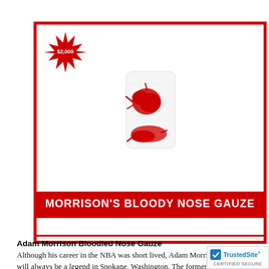[Figure (photo): Product card with red border showing a blood-stained white gauze pad. A red starburst price badge reads '$2,000' in the top-left corner. A red label bar at the bottom reads 'MORRISON'S BLOODY NOSE GAUZE'.]
Adam Morrison Bloodied Nose Gauze Although his career in the NBA was short lived, Adam Morrison will always be a legend in Spokane, Washington. The former Gonzaga star once famously bloodied his nose during his junior season. The bloodied nose gauze found its way to